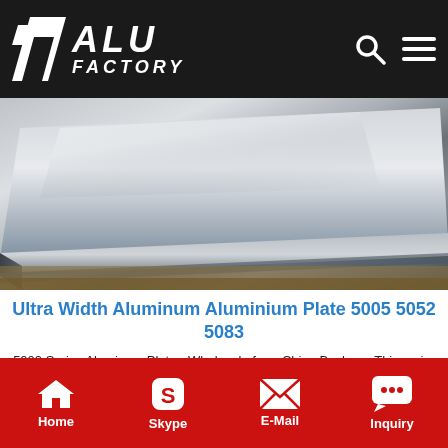ALU FACTORY
[Figure (photo): Stack of aluminum/aluminium plates viewed at an angle, metallic grey surfaces with shiny reflections, resting on packing material.]
Ultra Width Aluminum Aluminium Plate 5005 5052 5083
5000 Series Aluminum Plate - Wholesale from China Bozhong This major series of this series aluminum plate provided by Bohzong includes 5005 5052 5754 5083 series.. 5000 Series Aluminum Plate Width:500-1500mm Thickness:2-25mm Length:2000-8000mm Application:decoration outer shell for household products Packing:blank waterproof paper kraft wooden case or pallet (fumigation report for
Home  Skype  E-Mail  Inquiry